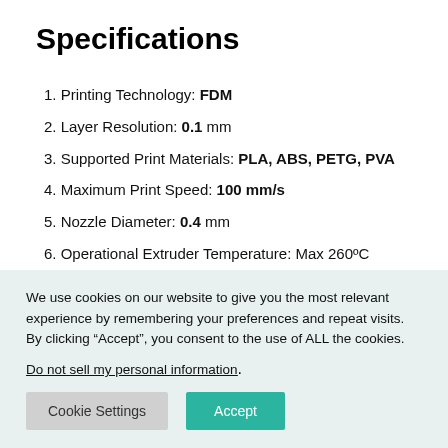Specifications
1. Printing Technology: FDM
2. Layer Resolution: 0.1 mm
3. Supported Print Materials: PLA, ABS, PETG, PVA
4. Maximum Print Speed: 100 mm/s
5. Nozzle Diameter: 0.4 mm
6. Operational Extruder Temperature: Max 260ºC
We use cookies on our website to give you the most relevant experience by remembering your preferences and repeat visits. By clicking “Accept”, you consent to the use of ALL the cookies.
Do not sell my personal information.